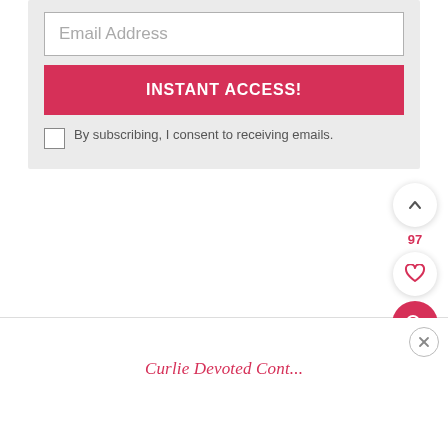[Figure (screenshot): Email subscription form with an email address input field, an INSTANT ACCESS! button in red/pink, a consent checkbox, floating action buttons (up arrow, heart, search), a vote count of 97, a close button, and partial red cursive title text at the bottom.]